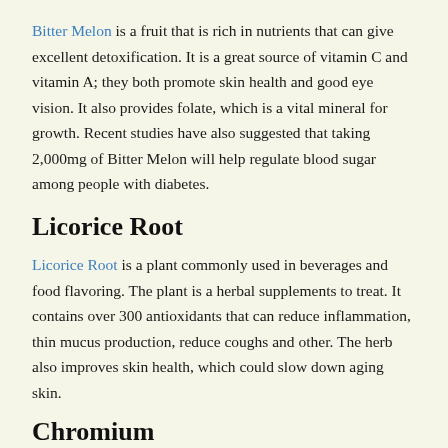Bitter Melon is a fruit that is rich in nutrients that can give excellent detoxification. It is a great source of vitamin C and vitamin A; they both promote skin health and good eye vision. It also provides folate, which is a vital mineral for growth. Recent studies have also suggested that taking 2,000mg of Bitter Melon will help regulate blood sugar among people with diabetes.
Licorice Root
Licorice Root is a plant commonly used in beverages and food flavoring. The plant is a herbal supplements to treat. It contains over 300 antioxidants that can reduce inflammation, thin mucus production, reduce coughs and other. The herb also improves skin health, which could slow down aging skin.
Chromium